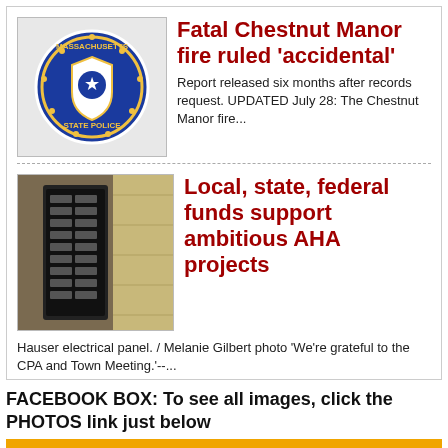[Figure (other): Massachusetts State Police badge/seal logo]
Fatal Chestnut Manor fire ruled 'accidental'
Report released six months after records request. UPDATED July 28: The Chestnut Manor fire...
[Figure (photo): Hauser electrical panel photo]
Local, state, federal funds support ambitious AHA projects
Hauser electrical panel. / Melanie Gilbert photo 'We're grateful to the CPA and Town Meeting.'--...
FACEBOOK BOX: To see all images, click the PHOTOS link just below
[Figure (screenshot): Facebook box widget showing POSTS, PHOTOS, VIDEOS tabs and a YourArlington.com post from 5 hours ago with a photo preview of trees/greenery.]